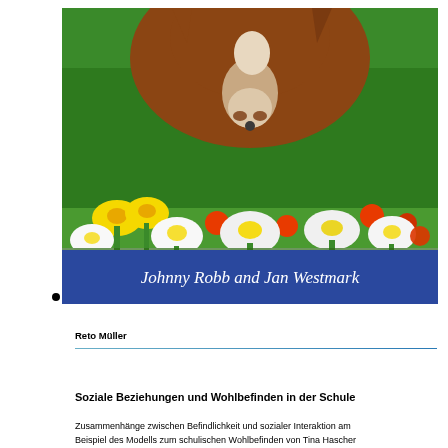[Figure (photo): A brown and white horse or foal sniffing at white, yellow, and red/orange flowers (daffodils and narcissus) against a bright green background. The image shows the animal's face and nose close to the flowers.]
Johnny Robb and Jan Westmark
Reto Müller
Soziale Beziehungen und Wohlbefinden in der Schule
Zusammenhänge zwischen Befindlichkeit und sozialer Interaktion am Beispiel des Modells zum schulischen Wohlbefinden von Tina Hascher